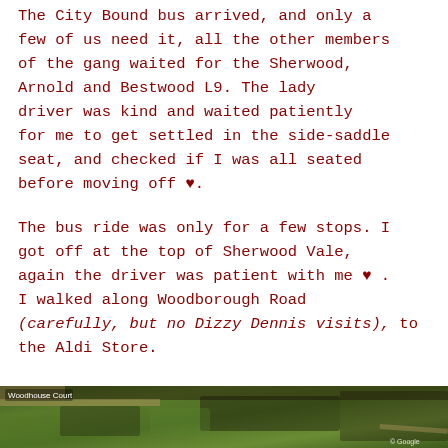The City Bound bus arrived, and only a few of us need it, all the other members of the gang waited for the Sherwood, Arnold and Bestwood L9. The lady driver was kind and waited patiently for me to get settled in the side-saddle seat, and checked if I was all seated before moving off ♥.
The bus ride was only for a few stops. I got off at the top of Sherwood Vale, again the driver was patient with me ♥ . I walked along Woodborough Road (carefully, but no Dizzy Dennis visits), to the Aldi Store.
[Figure (map): Satellite/aerial map view showing a green wooded area, likely Woodborough Road area in Nottingham, with road markings visible.]